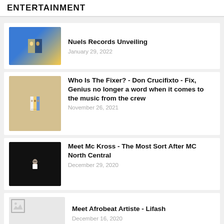ENTERTAINMENT
Nuels Records Unveiling
January 29, 2022
Who Is The Fixer? - Don Crucifixto - Fix, Genius no longer a word when it comes to the music from the crew
November 26, 2021
Meet Mc Kross - The Most Sort After MC North Central
December 29, 2020
Meet Afrobeat Artiste - Lifash
December 16, 2020
SOUNDCITY COVERS DEOLA AINA COSMETICS RED CARPET LAUNCH PARTY